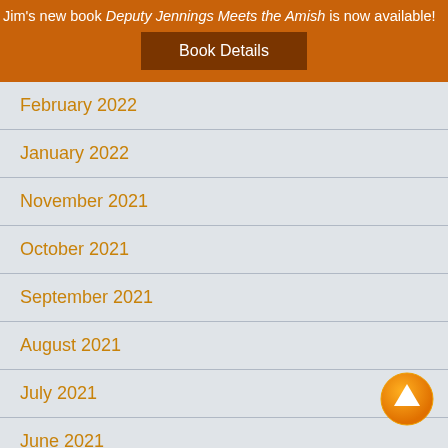Jim's new book Deputy Jennings Meets the Amish is now available!
Book Details
February 2022
January 2022
November 2021
October 2021
September 2021
August 2021
July 2021
June 2021
[Figure (illustration): Orange circular button with white upward arrow]